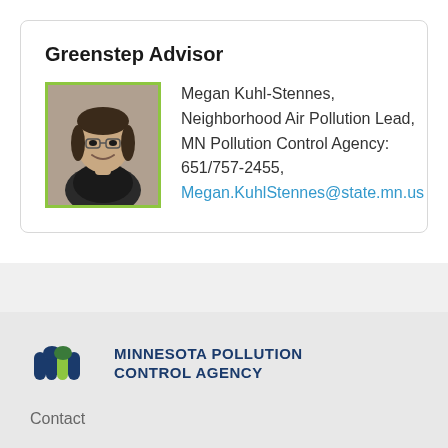Greenstep Advisor
[Figure (photo): Black and white headshot photo of Megan Kuhl-Stennes, a woman smiling, with a green border frame]
Megan Kuhl-Stennes, Neighborhood Air Pollution Lead, MN Pollution Control Agency: 651/757-2455, Megan.KuhlStennes@state.mn.us
[Figure (logo): Minnesota Pollution Control Agency logo with stylized m-shape icon in dark blue and green, and text MINNESOTA POLLUTION CONTROL AGENCY]
Contact